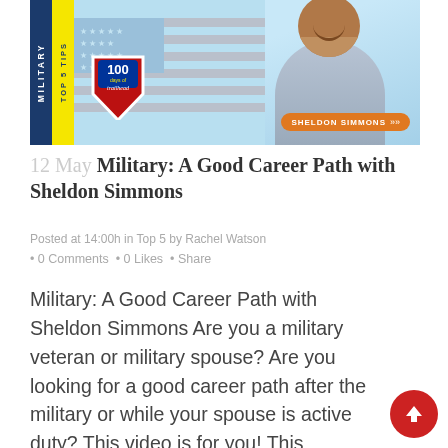[Figure (illustration): Banner image for a blog post about military career paths. Light blue background with US flag motif. Left sidebar in dark navy with 'MILITARY' text vertical. Yellow sidebar with 'TOP 5 TIPS' vertical text. Center-left has a red/blue shield logo with '100 days of trailhead'. Right side shows a smiling Black man in a grey checked shirt. Orange pill badge reads 'SHELDON SIMMONS' with chevrons.]
12 May Military: A Good Career Path with Sheldon Simmons
Posted at 14:00h in Top 5 by Rachel Watson
• 0 Comments  • 0 Likes  • Share
Military: A Good Career Path with Sheldon Simmons Are you a military veteran or military spouse? Are you looking for a good career path after the military or while your spouse is active duty? This video is for you! This